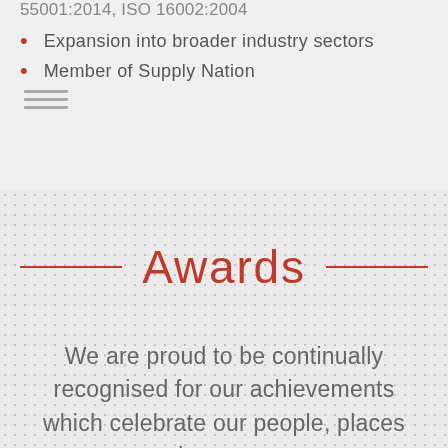55001:2014, ISO 16002:2004
Expansion into broader industry sectors
Member of Supply Nation
Awards
We are proud to be continually recognised for our achievements which celebrate our people, places and processes.